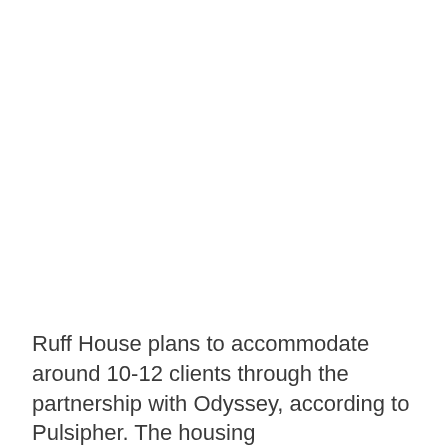Ruff House plans to accommodate around 10-12 clients through the partnership with Odyssey, according to Pulsipher. The housing